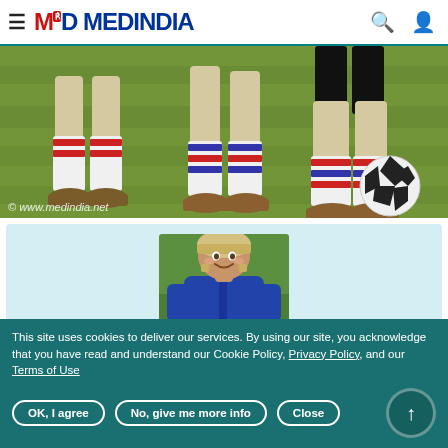MEDINDIA
[Figure (photo): Children's legs playing soccer on grass field with a soccer ball, watermark reads © www.medindia.net]
[Figure (photo): Young child wearing a helmet and blue jacket, smiling outdoors]
Mantra to Prevent Childhood Obesity –
This site uses cookies to deliver our services. By using our site, you acknowledge that you have read and understand our Cookie Policy, Privacy Policy, and our Terms of Use
OK, I agree | No, give me more info | Close